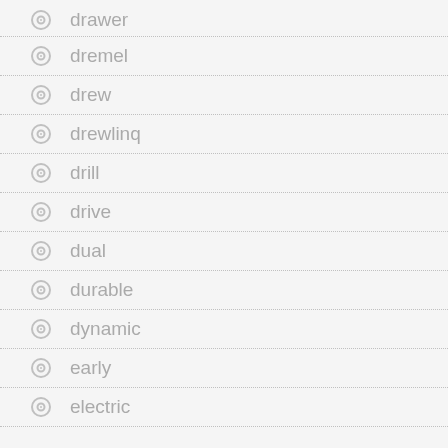drawer
dremel
drew
drewlinq
drill
drive
dual
durable
dynamic
early
electric